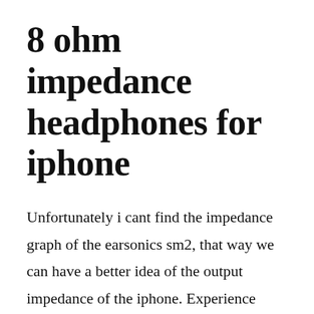8 ohm impedance headphones for iphone
Unfortunately i cant find the impedance graph of the earsonics sm2, that way we can have a better idea of the output impedance of the iphone. Experience enhanced car audio quality with this boss 8 inch 600w subwoofer. Overall, about 8 ohms, but at the deepest dips perhaps 4 ohms or less. Earphones and